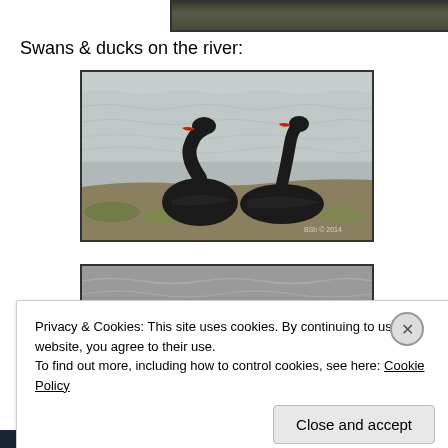[Figure (photo): Top partial photo strip showing dark foliage/trees, cropped at top of page]
Swans & ducks on the river:
[Figure (photo): Two black swans with red beaks on a river bank with rippling grey water behind them]
[Figure (photo): Partial bottom photo strip, another river/wildlife photo, mostly grey water]
Privacy & Cookies: This site uses cookies. By continuing to use this website, you agree to their use.
To find out more, including how to control cookies, see here: Cookie Policy
Close and accept